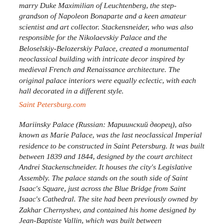marry Duke Maximilian of Leuchtenberg, the step-grandson of Napoleon Bonaparte and a keen amateur scientist and art collector. Stackensneider, who was also responsible for the Nikolaevskiy Palace and the Beloselskiy-Belozerskiy Palace, created a monumental neoclassical building with intricate decor inspired by medieval French and Renaissance architecture. The original palace interiors were equally eclectic, with each hall decorated in a different style.
Saint Petersburg.com
Mariinsky Palace (Russian: Мариинский дворец), also known as Marie Palace, was the last neoclassical Imperial residence to be constructed in Saint Petersburg. It was built between 1839 and 1844, designed by the court architect Andrei Stackenschneider. It houses the city's Legislative Assembly. The palace stands on the south side of Saint Isaac's Square, just across the Blue Bridge from Saint Isaac's Cathedral. The site had been previously owned by Zakhar Chernyshev, and contained his home designed by Jean-Baptiste Vallin, which was built between